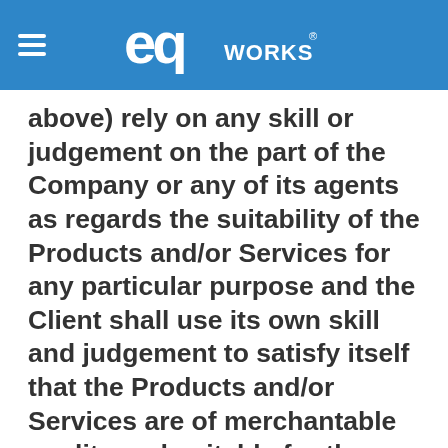EQ WORKS
above) rely on any skill or judgement on the part of the Company or any of its agents as regards the suitability of the Products and/or Services for any particular purpose and the Client shall use its own skill and judgement to satisfy itself that the Products and/or Services are of merchantable quality and suitable for the purpose of the Client. This condition 10.5 shall apply